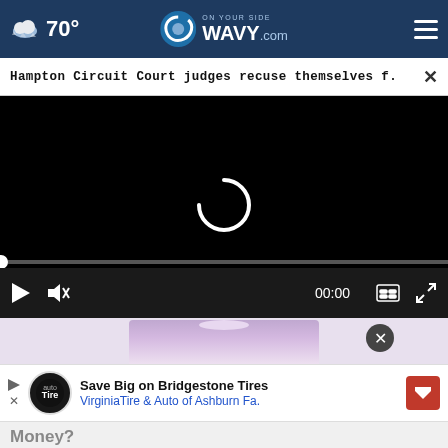70° WAVY.com On Your Side
Hampton Circuit Court judges recuse themselves f... ×
[Figure (screenshot): Video player showing a loading spinner on black background with playback controls (play, mute, 00:00 timestamp, captions, fullscreen) and a progress bar.]
[Figure (photo): Partial view of a person from neck down wearing a white shirt against a purple background, with a close button overlay.]
[Figure (screenshot): Advertisement banner: Save Big on Bridgestone Tires - Virginia Tire & Auto of Ashburn Fa. with Tire Auto logo and red arrow icon.]
Money?